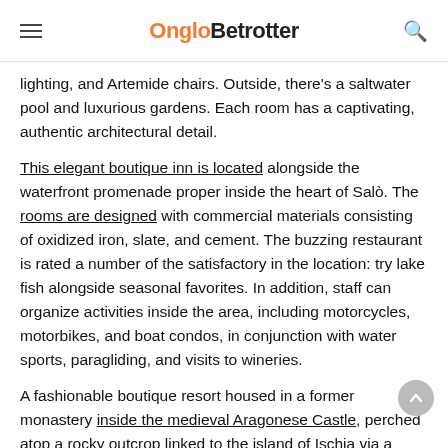OngloBetrotter
lighting, and Artemide chairs. Outside, there’s a saltwater pool and luxurious gardens. Each room has a captivating, authentic architectural detail.
This elegant boutique inn is located alongside the waterfront promenade proper inside the heart of Salò. The rooms are designed with commercial materials consisting of oxidized iron, slate, and cement. The buzzing restaurant is rated a number of the satisfactory in the location: try lake fish alongside seasonal favorites. In addition, staff can organize activities inside the area, including motorcycles, motorbikes, and boat condos, in conjunction with water sports, paragliding, and visits to wineries.
A fashionable boutique resort housed in a former monastery inside the medieval Aragonese Castle, perched atop a rocky outcrop linked to the island of Ischia via a slender causeway.